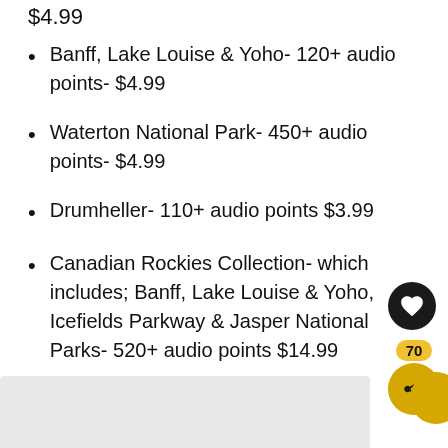$4.99
Banff, Lake Louise & Yoho- 120+ audio points- $4.99
Waterton National Park- 450+ audio points- $4.99
Drumheller- 110+ audio points $3.99
Canadian Rockies Collection- which includes; Banff, Lake Louise & Yoho, Icefields Parkway & Jasper National Parks- 520+ audio points $14.99